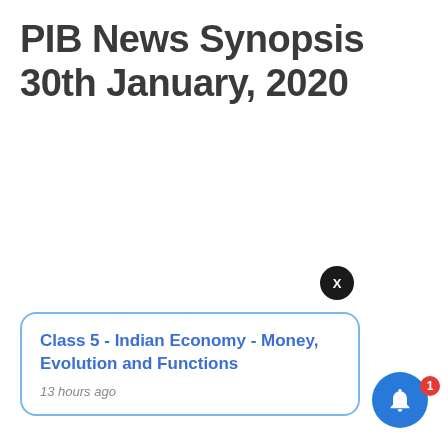PIB News Synopsis 30th January, 2020
Class 5 - Indian Economy - Money, Evolution and Functions
13 hours ago